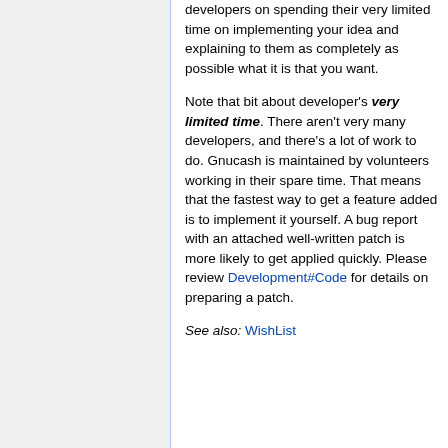developers on spending their very limited time on implementing your idea and explaining to them as completely as possible what it is that you want.
Note that bit about developer's very limited time. There aren't very many developers, and there's a lot of work to do. Gnucash is maintained by volunteers working in their spare time. That means that the fastest way to get a feature added is to implement it yourself. A bug report with an attached well-written patch is more likely to get applied quickly. Please review Development#Code for details on preparing a patch.
See also: WishList